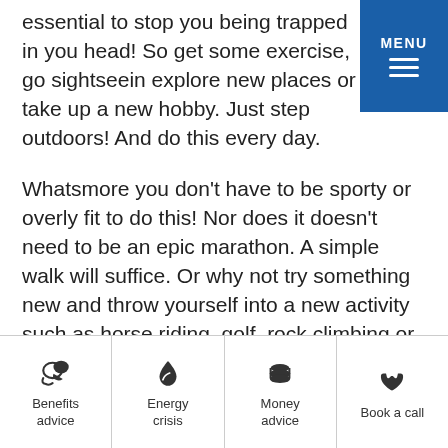essential to stop you being trapped in your head! So get some exercise, go sightseeing, explore new places or take up a new hobby. Just step outdoors! And do this every day.
Whatsmore you don't have to be sporty or overly fit to do this! Nor does it doesn't need to be an epic marathon. A simple walk will suffice. Or why not try something new and throw yourself into a new activity such as horse riding, golf, rock climbing or nature photography? Not floating your boat? Well, go window shopping, take up a hobby such as crafting or woodwork
Benefits advice
Energy crisis
Money advice
Book a call